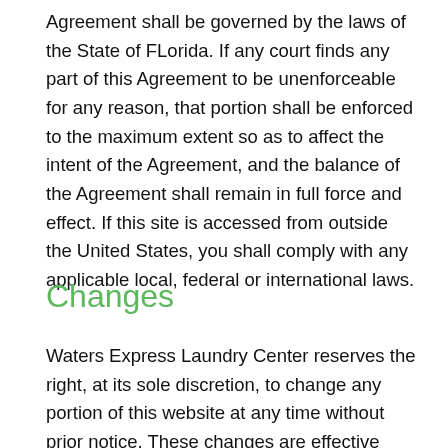Agreement shall be governed by the laws of the State of FLorida. If any court finds any part of this Agreement to be unenforceable for any reason, that portion shall be enforced to the maximum extent so as to affect the intent of the Agreement, and the balance of the Agreement shall remain in full force and effect. If this site is accessed from outside the United States, you shall comply with any applicable local, federal or international laws.
Changes
Waters Express Laundry Center reserves the right, at its sole discretion, to change any portion of this website at any time without prior notice. These changes are effective upon posting. Your continued use of the site